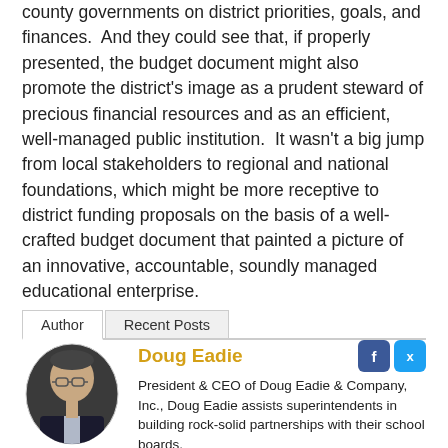county governments on district priorities, goals, and finances.  And they could see that, if properly presented, the budget document might also promote the district's image as a prudent steward of precious financial resources and as an efficient, well-managed public institution.  It wasn't a big jump from local stakeholders to regional and national foundations, which might be more receptive to district funding proposals on the basis of a well-crafted budget document that painted a picture of an innovative, accountable, soundly managed educational enterprise.
Author | Recent Posts
[Figure (photo): Oval portrait photo of Doug Eadie, an older man wearing a dark suit jacket]
Doug Eadie
President & CEO of Doug Eadie & Company, Inc., Doug Eadie assists superintendents in building rock-solid partnerships with their school boards.